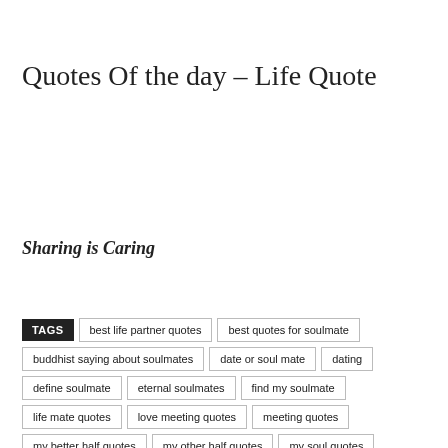Quotes Of the day – Life Quote
Sharing is Caring
TAGS  best life partner quotes  best quotes for soulmate  buddhist saying about soulmates  date or soul mate  dating  define soulmate  eternal soulmates  find my soulmate  life mate quotes  love meeting quotes  meeting quotes  my better half quotes  my other half quotes  my soul quotes